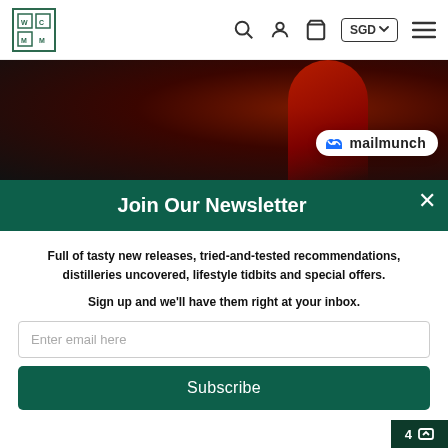[Figure (screenshot): E-commerce website navigation bar with logo, search, account, cart icons, SGD currency selector, and hamburger menu]
[Figure (photo): Dark reddish hero image background suggesting whisky/spirits product]
[Figure (logo): Mailmunch logo badge with blue M icon and text 'mailmunch']
Join Our Newsletter
Full of tasty new releases, tried-and-tested recommendations, distilleries uncovered, lifestyle tidbits and special offers.
Sign up and we'll have them right at your inbox.
Enter email here
Subscribe